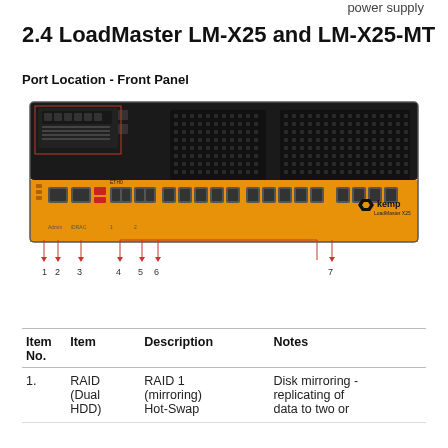power supply
2.4 LoadMaster LM-X25 and LM-X25-MT
Port Location - Front Panel
[Figure (photo): Front panel of the Kemp LoadMaster LM-X25 device showing ports labeled 1 through 7, with callout lines pointing to RAID, USB, ETHO, and other ports on the orange and black panel.]
| Item No. | Item | Description | Notes |
| --- | --- | --- | --- |
| 1. | RAID (Dual HDD) | RAID 1 (mirroring) Hot-Swap | Disk mirroring - replicating of data to two or |